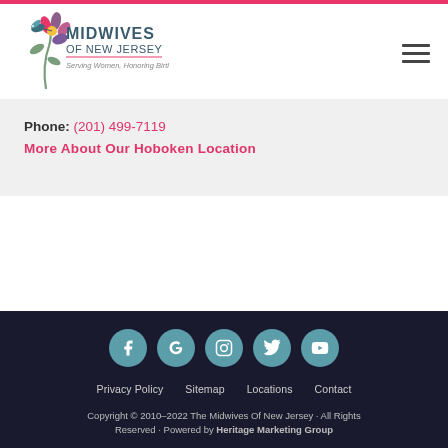[Figure (logo): Midwives of New Jersey logo with flower/hummingbird graphic and text 'MIDWIVES OF NEW JERSEY – Serving Women, Honoring Birth.']
Phone: (201) 499-7119
More About Our Hoboken Location
[Figure (other): Social media icons: Facebook, Google+, Instagram, Twitter, YouTube – teal circles with white icons]
Privacy Policy   Sitemap   Locations   Contact
Copyright © 2010–2022 The Midwives Of New Jersey · All Rights Reserved · Powered by Heritage Marketing Group